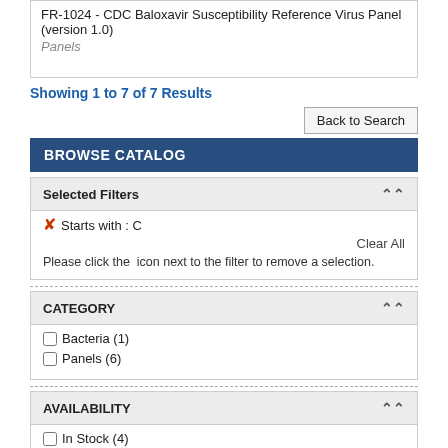FR-1024 - CDC Baloxavir Susceptibility Reference Virus Panel (version 1.0)
Panels
Showing 1 to 7 of 7 Results
Back to Search
BROWSE CATALOG
Selected Filters
Starts with : C
Clear All
Please click the  icon next to the filter to remove a selection.
CATEGORY
Bacteria (1)
Panels (6)
AVAILABILITY
In Stock (4)
Discontinued (2)
Temporarily Out Of Stock (1)